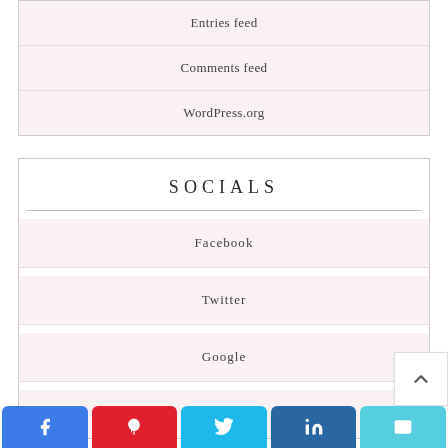Entries feed
Comments feed
WordPress.org
SOCIALS
Facebook
Twitter
Google
Linkedin